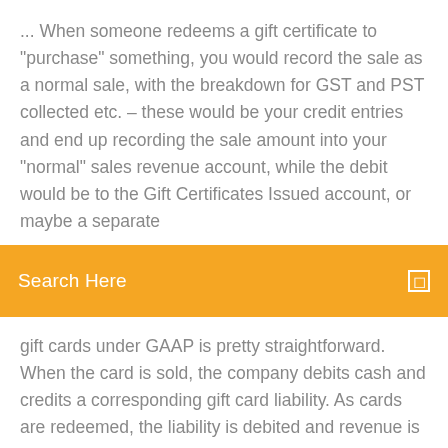... When someone redeems a gift certificate to "purchase" something, you would record the sale as a normal sale, with the breakdown for GST and PST collected etc. – these would be your credit entries and end up recording the sale amount into your "normal" sales revenue account, while the debit would be to the Gift Certificates Issued account, or maybe a separate
Search Here
gift cards under GAAP is pretty straightforward. When the card is sold, the company debits cash and credits a corresponding gift card liability. As cards are redeemed, the liability is debited and revenue is recognized as a credit to sales, but Accounting For Gift Cards | Double Entry Bookkeeping
Download netflix episodes on pc
How to register for paypal account in nigeria
E bike tuning bosch test
Descargar asterisk para windows 7 64 bits gratis